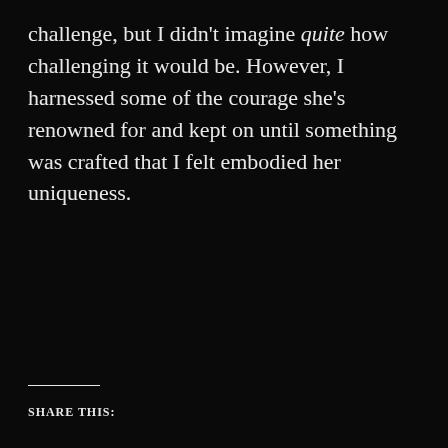challenge, but I didn't imagine quite how challenging it would be. However, I harnessed some of the courage she's renowned for and kept on until something was crafted that I felt embodied her uniqueness.
SHARE THIS: